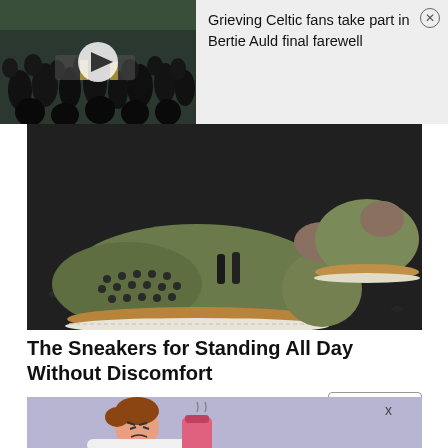[Figure (screenshot): Video thumbnail showing a crowd of people gathered outdoors with a play button overlay, part of a news story about Celtic fans at Bertie Auld's farewell]
Grieving Celtic fans take part in Bertie Auld final farewell
[Figure (photo): Close-up photo of olive/green suede sneakers with perforated toe and tan/white sole on dark ground]
The Sneakers for Standing All Day Without Discomfort
Zekear
Read More
[Figure (illustration): Cartoon illustration of a person with brown hair lying down or hunched over on a purple/lavender background, with an X close button]